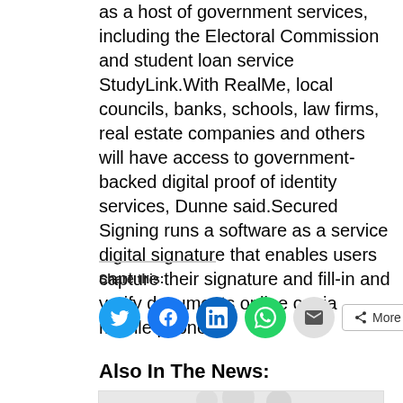as a host of government services, including the Electoral Commission and student loan service StudyLink.With RealMe, local councils, banks, schools, law firms, real estate companies and others will have access to government-backed digital proof of identity services, Dunne said.Secured Signing runs a software as a service digital signature that enables users capture their signature and fill-in and verify documents online or via mobile phones.
Share this:
[Figure (infographic): Social share buttons: Twitter (blue circle), Facebook (blue circle), LinkedIn (blue circle), WhatsApp (green circle), Email (grey circle), More button]
Also In The News:
[Figure (photo): A partially visible news article image thumbnail at the bottom of the page]